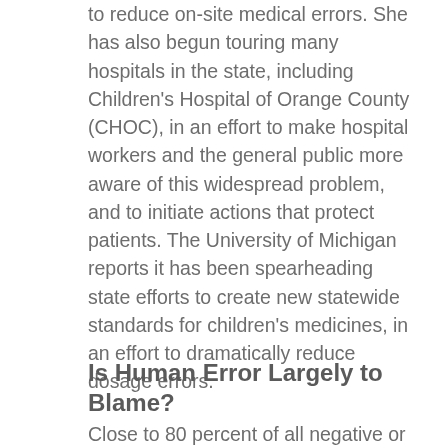to reduce on-site medical errors. She has also begun touring many hospitals in the state, including Children's Hospital of Orange County (CHOC), in an effort to make hospital workers and the general public more aware of this widespread problem, and to initiate actions that protect patients. The University of Michigan reports it has been spearheading state efforts to create new statewide standards for children's medicines, in an effort to dramatically reduce dosage errors.
Is Human Error Largely to Blame?
Close to 80 percent of all negative or